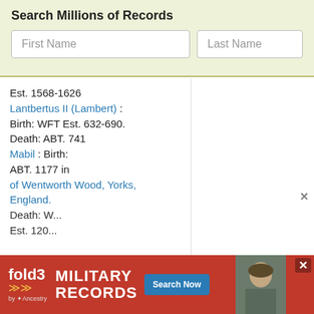Search Millions of Records
First Name
Last Name
Est. 1568-1626
Lantbertus II (Lambert) : Birth: WFT Est. 632-690. Death: ABT. 741
Mabil : Birth: ABT. 1177 in of Wentworth Wood, Yorks, England. Death: W... Est. 120... 1271
[Figure (infographic): Fold3 Military Records advertisement banner with red background, Fold3 logo with yellow chevrons, 'MILITARY RECORDS' text, 'Search Now' button, and a vintage military photo]